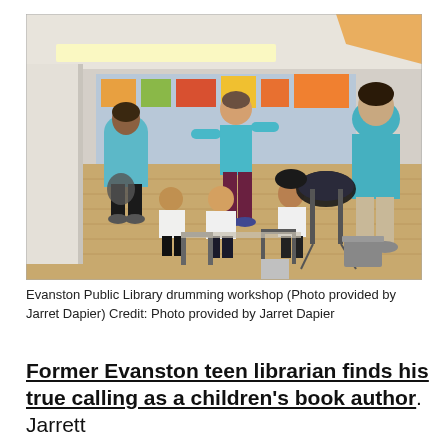[Figure (photo): Children and adults at a drumming workshop inside a large open room with wood floors. Two people in blue teal t-shirts stand, one in the center gesturing, one on the right. Several children sit on chairs around a table/instruments. Artwork and colorful decorations visible in the background.]
Evanston Public Library drumming workshop (Photo provided by Jarret Dapier) Credit: Photo provided by Jarret Dapier
Former Evanston teen librarian finds his true calling as a children's book author. Jarrett